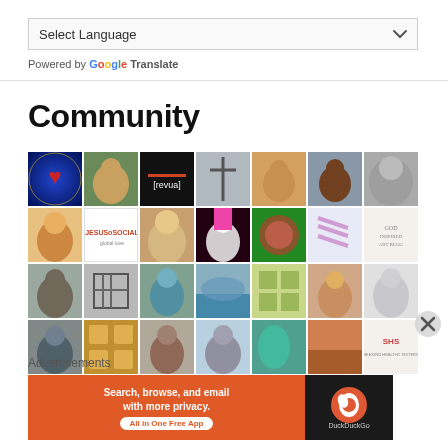Select Language
Powered by Google Translate
Community
[Figure (photo): Grid of community member profile photos and avatars, arranged in 4 rows of 7 images each]
Advertisements
[Figure (infographic): DuckDuckGo advertisement banner: orange background with text 'Search, browse, and email with more privacy. All in One Free App' and DuckDuckGo duck logo on dark right panel]